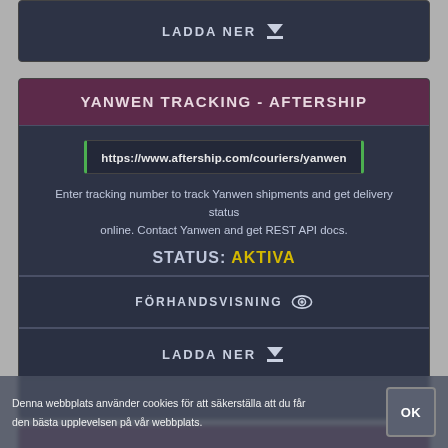LADDA NER
YANWEN TRACKING - AFTERSHIP
https://www.aftership.com/couriers/yanwen
Enter tracking number to track Yanwen shipments and get delivery status online. Contact Yanwen and get REST API docs.
STATUS: AKTIVA
FÖRHANDSVISNING
LADDA NER
YANWEN LOGISTICS TRACKING
Denna webbplats använder cookies för att säkerställa att du får den bästa upplevelsen på vår webbplats.